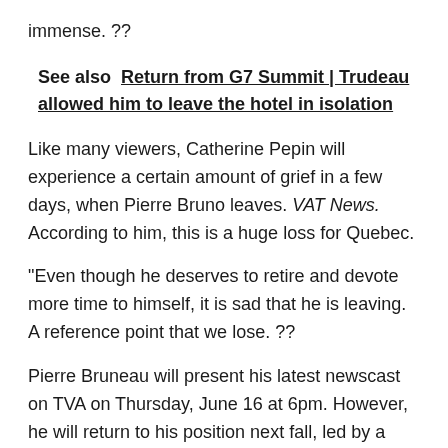immense. ??
See also  Return from G7 Summit | Trudeau allowed him to leave the hotel in isolation
Like many viewers, Catherine Pepin will experience a certain amount of grief in a few days, when Pierre Bruno leaves. VAT News. According to him, this is a huge loss for Quebec.
“Even though he deserves to retire and devote more time to himself, it is sad that he is leaving. A reference point that we lose. ??
Pierre Bruneau will present his latest newscast on TVA on Thursday, June 16 at 6pm. However, he will return to his position next fall, led by a debate among TVA